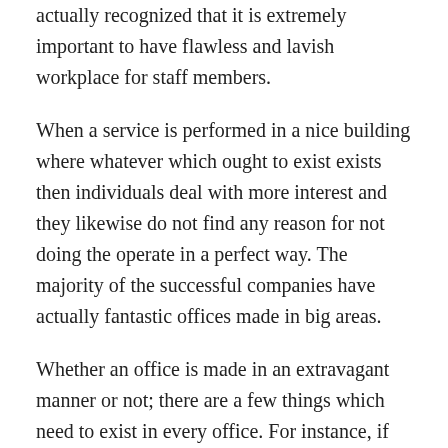actually recognized that it is extremely important to have flawless and lavish workplace for staff members.
When a service is performed in a nice building where whatever which ought to exist exists then individuals deal with more interest and they likewise do not find any reason for not doing the operate in a perfect way. The majority of the successful companies have actually fantastic offices made in big areas.
Whether an office is made in an extravagant manner or not; there are a few things which need to exist in every office. For instance, if employees need to overcome computers then they need to have computer system systems and adequate seating plans so that they can quickly work. If a workplace is made by investing a great deal of money but it lacks in